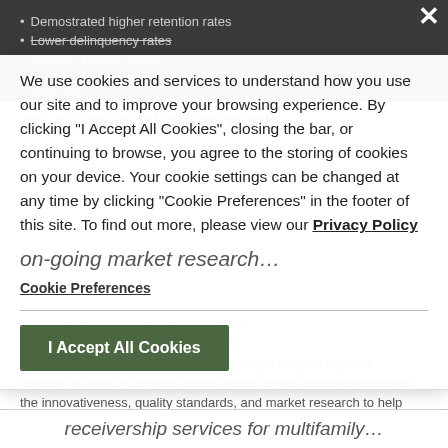Demostrated higher retention rates
Lower delinquency rates
Support among tenants
We use cookies and services to understand how you use our site and to improve your browsing experience. By clicking "I Accept All Cookies", closing the bar, or continuing to browse, you agree to the storing of cookies on your device. Your cookie settings can be changed at any time by clicking "Cookie Preferences" in the footer of this site. To find out more, please view our Privacy Policy
on-going market research…
Cookie Preferences
I Accept All Cookies
property positioning in the marketplace rail market, we analyze and challenge competitor-marketing efforts and find unique ways to improve property position. We have the resources, expertise and experience, the innovativeness, quality standards, and market research to help advance your properties in the marketplace!
receivership services for multifamily…